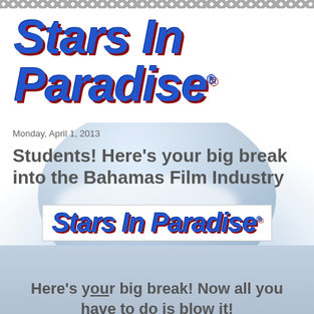[Figure (logo): Stars In Paradise logo in large bold blue italic text with dark red shadow effect, white background, zigzag border at top]
Monday, April 1, 2013
Students! Here's your big break into the Bahamas Film Industry
[Figure (logo): Stars In Paradise logo in medium bold blue italic text inside white box with border, on globe/sky background]
Here's your big break! Now all you have to do is blow it!